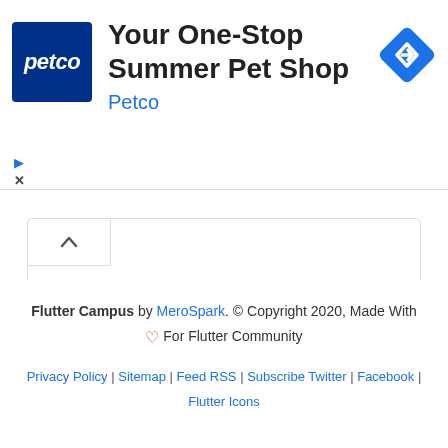[Figure (screenshot): Petco advertisement banner with Petco logo (blue square with 'petco' in white italic text), ad headline 'Your One-Stop Summer Pet Shop', brand name 'Petco' in blue, navigation diamond icon, and ad controls (play and close icons)]
Browse Flutter Scripts
Flutter Campus by MeroSpark. © Copyright 2020, Made With ♥ For Flutter Community
Privacy Policy | Sitemap | Feed RSS | Subscribe Twitter | Facebook | Flutter Icons